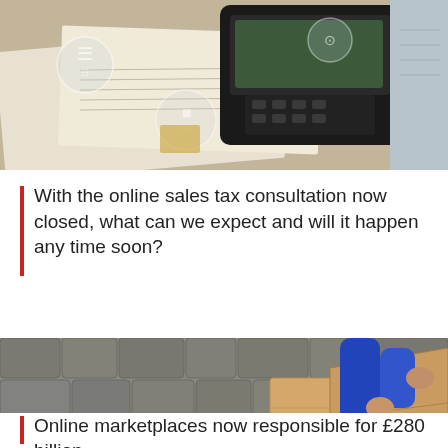[Figure (photo): Overhead photo of a payment terminal/card reader on a desk with papers, with circular overlay icons suggesting digital/tech elements]
With the online sales tax consultation now closed, what can we expect and will it happen any time soon?
[Figure (photo): Overhead view of two delivery workers in blue uniforms handling stacked cardboard boxes on a stone pavement, with a reCAPTCHA badge overlay]
Online marketplaces now responsible for £280 billion